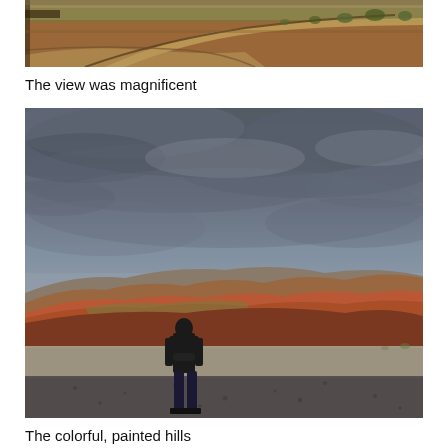[Figure (photo): Aerial view of a desert landscape with winding dirt roads, red-orange earth, sparse green shrubs and trees stretching across golden-brown terrain.]
The view was magnificent
[Figure (photo): A person standing on a gravel path looking at colorful painted hills with red, orange, and green striped layers under a dramatic cloudy grey sky.]
The colorful, painted hills